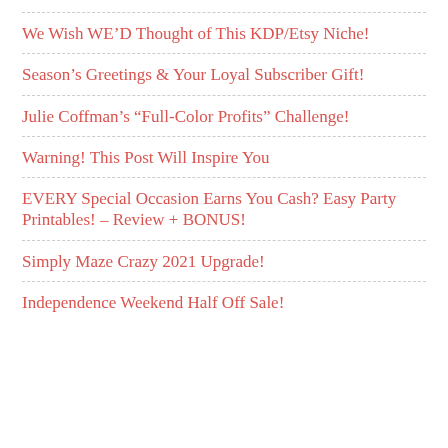We Wish WE'D Thought of This KDP/Etsy Niche!
Season's Greetings & Your Loyal Subscriber Gift!
Julie Coffman's “Full-Color Profits” Challenge!
Warning! This Post Will Inspire You
EVERY Special Occasion Earns You Cash? Easy Party Printables! – Review + BONUS!
Simply Maze Crazy 2021 Upgrade!
Independence Weekend Half Off Sale!